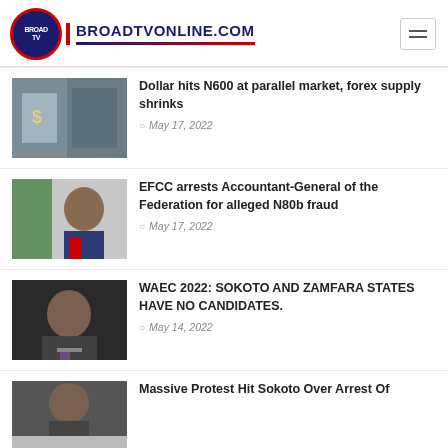BROADTVONLINE.COM
Dollar hits N600 at parallel market, forex supply shrinks | May 17, 2022
EFCC arrests Accountant-General of the Federation for alleged N80b fraud | May 17, 2022
WAEC 2022: SOKOTO AND ZAMFARA STATES HAVE NO CANDIDATES. | May 14, 2022
Massive Protest Hit Sokoto Over Arrest Of